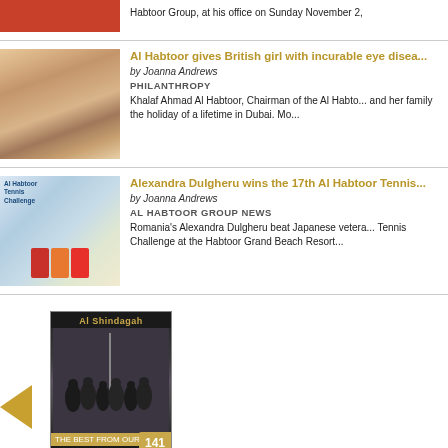Habtoor Group, at his office on Sunday November 2,
[Figure (photo): Photo of Al Habtoor with British girl, philanthropy story]
Al Habtoor gives British girl with incurable eye dise...
by Joanna Andrews
PHILANTHROPY
Khalaf Ahmad Al Habtoor, Chairman of the Al Habto... and her family the holiday of a lifetime in Dubai. Mo...
[Figure (photo): Tennis event photo with Al Habtoor Tennis Challenge banner]
Alexandra Dulgheru wins the 17th Al Habtoor Tennis...
by Joanna Andrews
AL HABTOOR GROUP NEWS
Romania's Alexandra Dulgheru beat Japanese vetera... Tennis Challenge at the Habtoor Grand Beach Resort...
[Figure (photo): Al Shindagah magazine cover issue 141 with historical group photo]